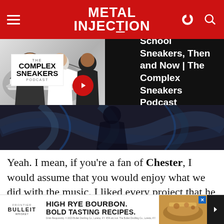METAL INJECTION
[Figure (screenshot): Metal Injection website screenshot showing header with logo, navigation icons, an advertisement for The Complex Sneakers Podcast with three men and a sidebar ad, a tattoo background image, article text about Chester, and a Bulleit Bourbon advertisement banner at the bottom]
Yeah. I mean, if you're a fan of Chester, I would assume that you would enjoy what we did with the music. I liked every project that he ever did.
Every ... d by Sunri... s of